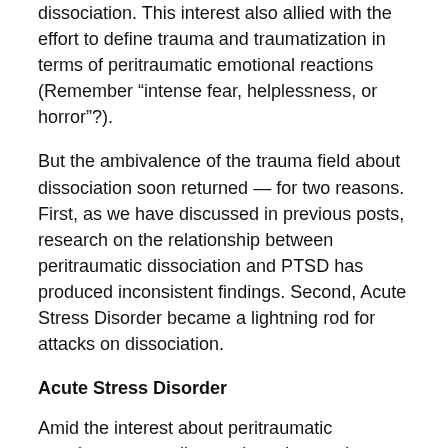dissociation. This interest also allied with the effort to define trauma and traumatization in terms of peritraumatic emotional reactions (Remember “intense fear, helplessness, or horror”?).
But the ambivalence of the trauma field about dissociation soon returned — for two reasons. First, as we have discussed in previous posts, research on the relationship between peritraumatic dissociation and PTSD has produced inconsistent findings. Second, Acute Stress Disorder became a lightning rod for attacks on dissociation.
Acute Stress Disorder
Amid the interest about peritraumatic reactions, a new diagnostic entity was born: Acute Stress Disorder.
According to the DSM, dissociation is in PTSD as a...